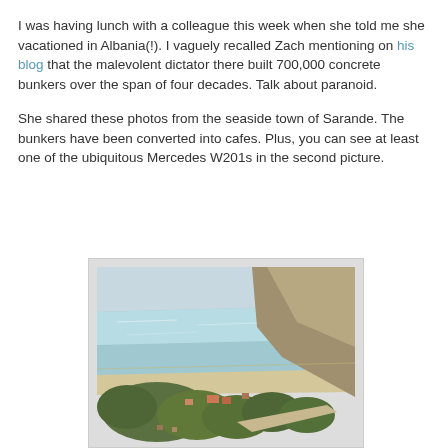I was having lunch with a colleague this week when she told me she vacationed in Albania(!). I vaguely recalled Zach mentioning on his blog that the malevolent dictator there built 700,000 concrete bunkers over the span of four decades. Talk about paranoid.
She shared these photos from the seaside town of Sarande. The bunkers have been converted into cafes. Plus, you can see at least one of the ubiquitous Mercedes W201s in the second picture.
[Figure (photo): Aerial photo of a seaside coastal town (Sarande, Albania) showing a beach, turquoise-blue sea water, a hillside with rocky cliffs on the right, and green vegetation with small buildings and a road visible below.]